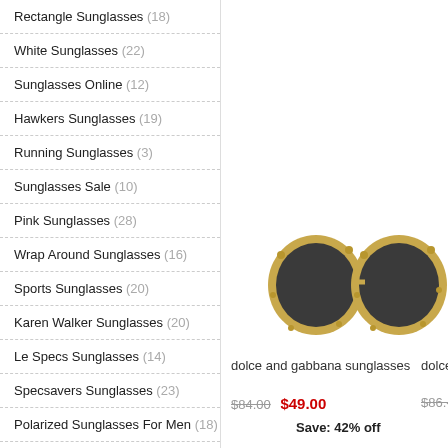Rectangle Sunglasses (18)
White Sunglasses (22)
Sunglasses Online (12)
Hawkers Sunglasses (19)
Running Sunglasses (3)
Sunglasses Sale (10)
Pink Sunglasses (28)
Wrap Around Sunglasses (16)
Sports Sunglasses (20)
Karen Walker Sunglasses (20)
Le Specs Sunglasses (14)
Specsavers Sunglasses (23)
Polarized Sunglasses For Men (18)
Carve Sunglasses (27)
Maui Jims Sunglasses (23)
Tortoise Shell Sunglasses (18)
[Figure (photo): Two round ornate gold-framed black lens sunglasses (dolce and gabbana style)]
dolce and gabbana sunglasses   dolce
$84.00  $49.00   Save: 42% off   $86.-